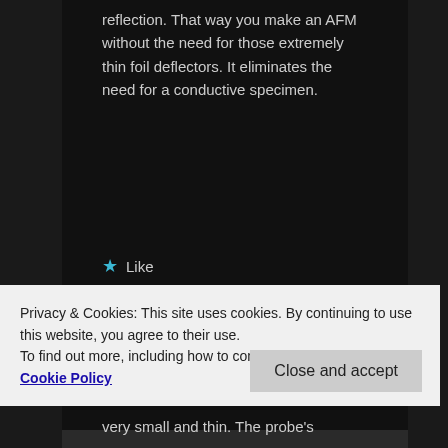reflection. That way you make an AFM without the need for those extremely thin foil deflectors. It eliminates the need for a conductive specimen.
★ Like
Dan Berard on December 5, 2019 at 11:23 pm said:
Privacy & Cookies: This site uses cookies. By continuing to use this website, you agree to their use.
To find out more, including how to control cookies, see here: Cookie Policy
Close and accept
very small and thin. The probe's